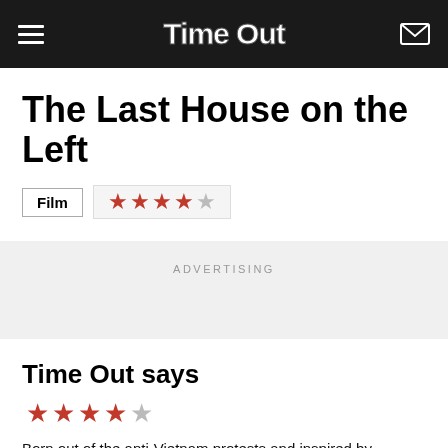Time Out
The Last House on the Left
Film  ★★★★☆
ADVERTISING
Time Out says
★★★★☆
Born out of the anti-Vietnam protests and inspired by